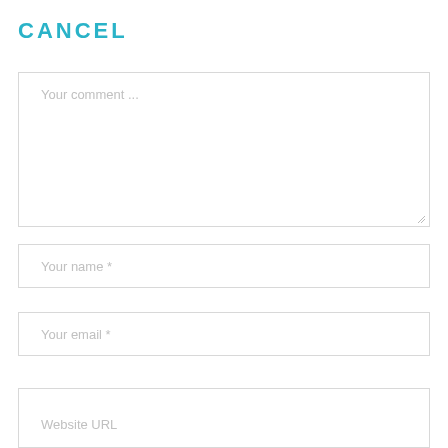CANCEL
Your comment ...
Your name *
Your email *
Website URL